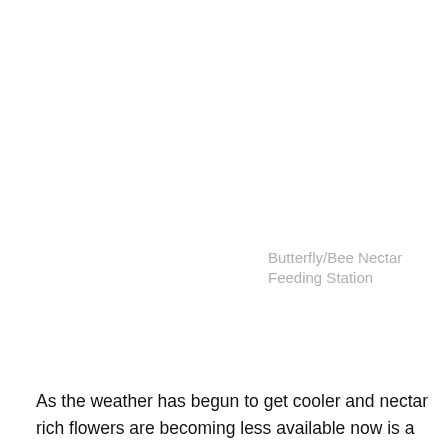Butterfly/Bee Nectar Feeding Station
As the weather has begun to get cooler and nectar rich flowers are becoming less available now is a good time to provide some extra food and a safe and dry place for our wonderful insects to roost and hibernate, we have put up a Butterfly/Bee Nectar Feeding Station next to our Buddleia Bush, whose flowers have nearly all gone to seed, and I think I might put up a Butterfly & Moth Feeder nearby too, as well as being a feeding station the insects can also roost and hibernate inside on the cassette which can be lifted out so that you can observe your guests as they